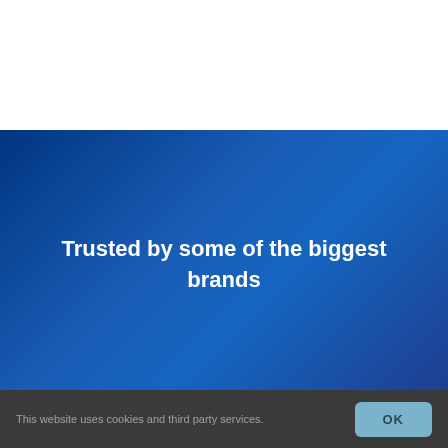[Figure (other): White blank area at the top of the page]
Trusted by some of the biggest brands
This website uses cookies and third party services.